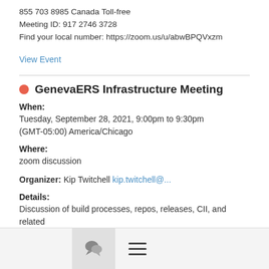855 703 8985 Canada Toll-free
Meeting ID: 917 2746 3728
Find your local number: https://zoom.us/u/abwBPQVxzm
View Event
GenevaERS Infrastructure Meeting
When:
Tuesday, September 28, 2021, 9:00pm to 9:30pm (GMT-05:00) America/Chicago
Where:
zoom discussion
Organizer: Kip Twitchell kip.twitchell@...
Details:
Discussion of build processes, repos, releases, CII, and related